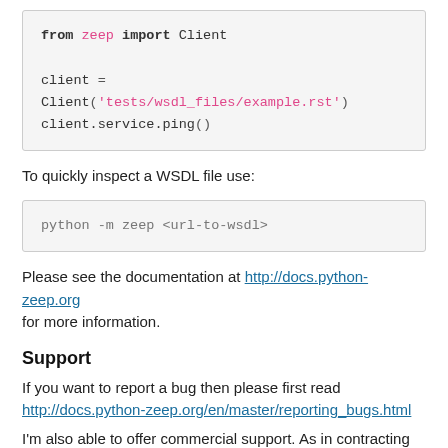[Figure (screenshot): Python code block: from zeep import Client

client = Client('tests/wsdl_files/example.rst')
client.service.ping()]
To quickly inspect a WSDL file use:
[Figure (screenshot): Command line code block: python -m zeep <url-to-wsdl>]
Please see the documentation at http://docs.python-zeep.org for more information.
Support
If you want to report a bug then please first read http://docs.python-zeep.org/en/master/reporting_bugs.html
I'm also able to offer commercial support. As in contracting work,